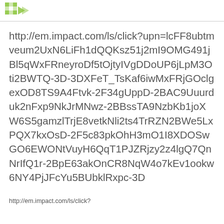[logo]
http://em.impact.com/ls/click?upn=lcFF8ubtmveum2UxN6LiFh1dQQKsz51j2mI9OMG491jBl5qWxFRneyroDf5tOjtyIVgDDoUP6jLpM3Oti2BWTQ-3D-3DXFeT_TsKaf6iwMxFRjGOclgexOD8TS9A4Ftvk-2F34gUppD-2BAC9Uuurduk2nFxp9NkJrMNwz-2BBssTA9NzbKb1joXW6S5gamzlTrjE8vetkNli2ts4TrRZN2BWe5LxPQX7kxOsD-2F5c83pkOhH3mO1I8XDOSwGO6EWONtVuyH6QqT1PJZRjzy2z4lgQ7QnNrIfQ1r-2BpE63akOnCR8NqW4o7kEv1ookw6NY4PjJFcYu5BUbklRxpc-3D
http://em.impact.com/ls/click?